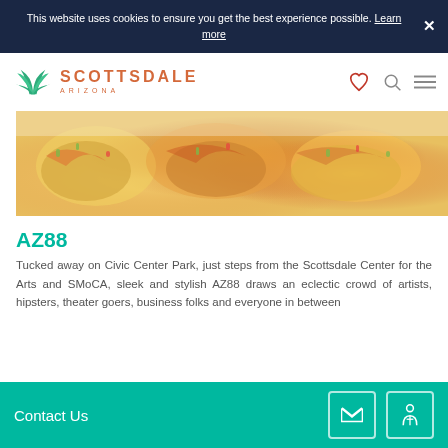This website uses cookies to ensure you get the best experience possible. Learn more
[Figure (logo): Scottsdale Arizona logo with agave plant icon and text SCOTTSDALE ARIZONA in orange]
[Figure (photo): Food photo showing colorful appetizers or tacos with toppings like shredded vegetables and sauces on a white plate]
AZ88
Tucked away on Civic Center Park, just steps from the Scottsdale Center for the Arts and SMoCA, sleek and stylish AZ88 draws an eclectic crowd of artists, hipsters, theater goers, business folks and everyone in between
Contact Us